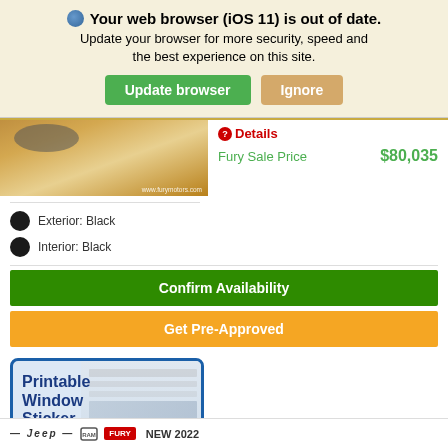Your web browser (iOS 11) is out of date. Update your browser for more security, speed and the best experience on this site.
[Figure (screenshot): Partial car image showing tire and wooden floor background with watermark www.furymotors.com]
Details
Fury Sale Price   $80,035
Exterior: Black
Interior: Black
Confirm Availability
Get Pre-Approved
[Figure (illustration): Printable Window Sticker widget with blue border, showing blue text 'Printable Window Sticker' and a 'CLICK HERE' blue button on the right]
[Figure (logo): Footer strip with Jeep and Fury Motors logos and model text NEW 2022]